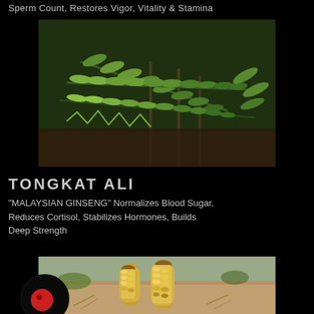Sperm Count, Restores Vigor, Vitality & Stamina
[Figure (photo): Close-up photo of Tongkat Ali plant with green pinnate leaves against a dark forest floor background]
TONGKAT ALI
"MALAYSIAN GINSENG" Normalizes Blood Sugar, Reduces Cortisol, Stabilizes Hormones, Builds Deep Strength
[Figure (photo): Photo of yellow-brown flowering spike plants (possibly Cistanche) growing in sandy/arid soil]
[Figure (logo): Black circle with red dot logo/icon]